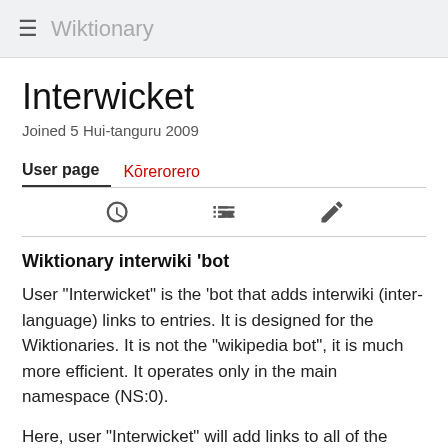≡ Wiktionary
Interwicket
Joined 5 Hui-tanguru 2009
User page   Kōrerorero
[Figure (infographic): Icon bar with three icons: history (clock), contributors (list with person), and edit (pencil)]
Wiktionary interwiki 'bot
User "Interwicket" is the 'bot that adds interwiki (inter-language) links to entries. It is designed for the Wiktionaries. It is not the "wikipedia bot", it is much more efficient. It operates only in the main namespace (NS:0).
Here, user "Interwicket" will add links to all of the other wiktionaries when needed.